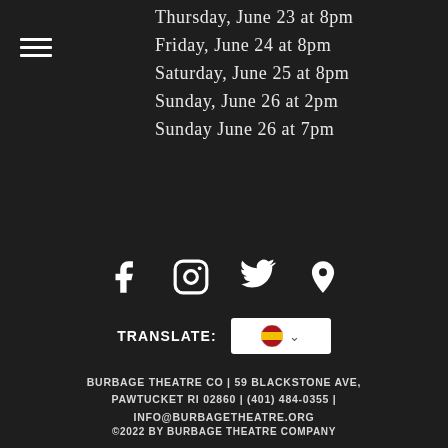Thursday, June 23 at 8pm
Friday, June 24 at 8pm
Saturday, June 25 at 8pm
Sunday, June 26 at 2pm
Sunday June 26 at 7pm
[Figure (infographic): Social media icons: Facebook, Instagram, Twitter, Location pin]
TRANSLATE:
[Figure (other): Translate widget showing Spanish flag with dropdown chevron]
BURBAGE THEATRE CO | 59 BLACKSTONE AVE, PAWTUCKET RI 02860 | (401) 484-0355 | INFO@BURBAGETHEATRE.ORG
©2022 BY BURBAGE THEATRE COMPANY